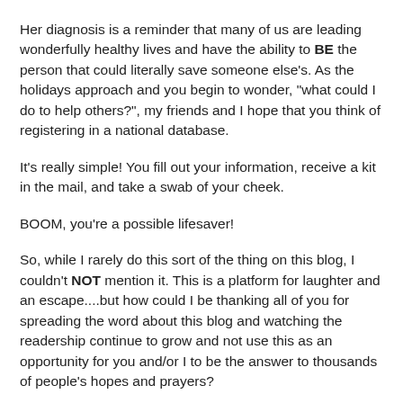Her diagnosis is a reminder that many of us are leading wonderfully healthy lives and have the ability to BE the person that could literally save someone else's. As the holidays approach and you begin to wonder, "what could I do to help others?", my friends and I hope that you think of registering in a national database.
It's really simple! You fill out your information, receive a kit in the mail, and take a swab of your cheek.
BOOM, you're a possible lifesaver!
So, while I rarely do this sort of the thing on this blog, I couldn't NOT mention it. This is a platform for laughter and an escape....but how could I be thanking all of you for spreading the word about this blog and watching the readership continue to grow and not use this as an opportunity for you and/or I to be the answer to thousands of people's hopes and prayers?
Please click here and feel free to pass on to your friends.